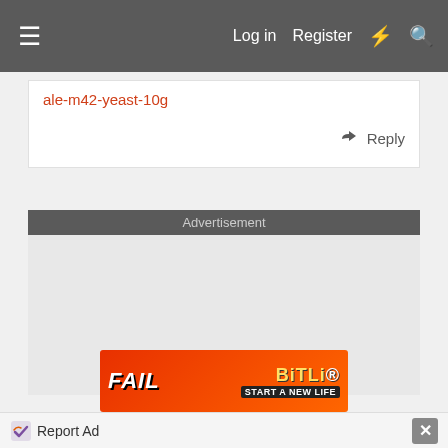Log in  Register
ale-m42-yeast-10g
Reply
Advertisement
[Figure (other): Advertisement placeholder area (gray box)]
Report Ad  X
[Figure (other): BitLife advertisement banner: FAIL image with cartoon character, START A NEW LIFE text on red background]